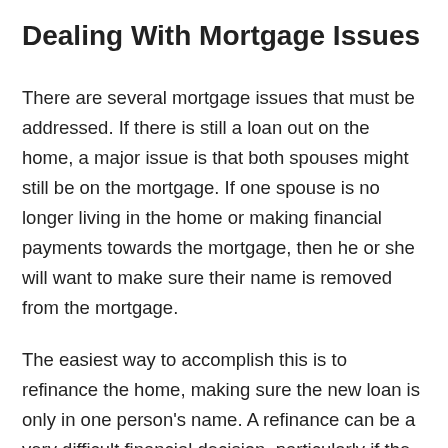Dealing With Mortgage Issues
There are several mortgage issues that must be addressed. If there is still a loan out on the home, a major issue is that both spouses might still be on the mortgage. If one spouse is no longer living in the home or making financial payments towards the mortgage, then he or she will want to make sure their name is removed from the mortgage.
The easiest way to accomplish this is to refinance the home, making sure the new loan is only in one person's name. A refinance can be a very difficult financial decision, particularly if the terms of refinancing are less favorable then the current mortgage terms, which could be the case if...